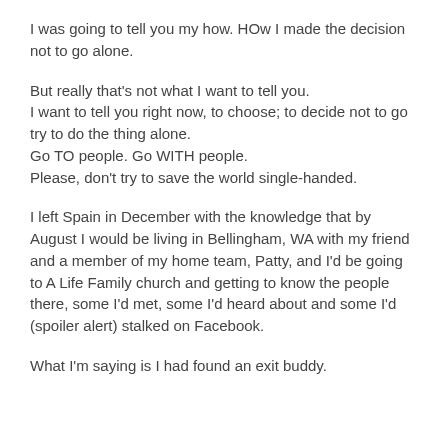I was going to tell you my how. HOw I made the decision not to go alone.
But really that's not what I want to tell you.
I want to tell you right now, to choose; to decide not to go try to do the thing alone.
Go TO people. Go WITH people.
Please, don't try to save the world single-handed.
I left Spain in December with the knowledge that by August I would be living in Bellingham, WA with my friend and a member of my home team, Patty, and I'd be going to A Life Family church and getting to know the people there, some I'd met, some I'd heard about and some I'd (spoiler alert) stalked on Facebook.
What I'm saying is I had found an exit buddy.